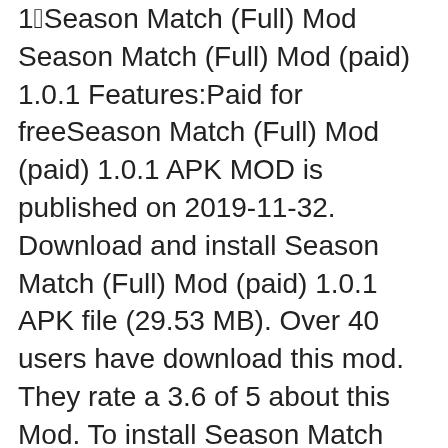1⃣Season Match (Full) Mod Season Match (Full) Mod (paid) 1.0.1 Features:Paid for freeSeason Match (Full) Mod (paid) 1.0.1 APK MOD is published on 2019-11-32. Download and install Season Match (Full) Mod (paid) 1.0.1 APK file (29.53 MB). Over 40 users have download this mod. They rate a 3.6 of 5 about this Mod. To install Season Match (Full) Mod (paid) 1.0.1 APK file. Your android device version should be at least Android 2.2 and up and the device is not need root. Season Match (Full) Mod (paid) 1.0.1 APK works very well on 45 users's device. The size about Season Match (Full) Mod (paid) 1.0.1 APK is 29.53 MB. You can download Season Match (Full) Mod (paid) 1.0.1 APK to get unlimited money and win easily.Zombien Mod Zombien Mod Apk 1.0.5 Features:All Chapters